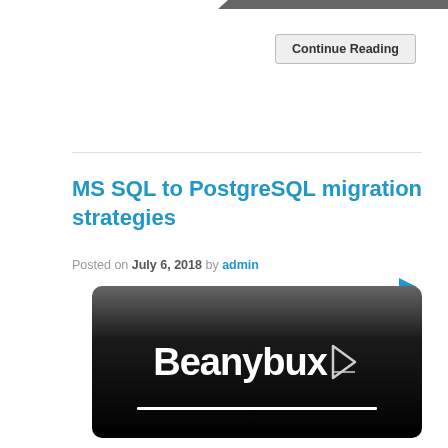[Figure (illustration): Dark grey diagonal banner at top of page]
Continue Reading
MS SQL to PostgreSQL migration strategies
Posted on July 6, 2018 by admin
[Figure (logo): Beanybux advertisement banner with white bold text on glossy black background with cursor icon]
Nowadays many companies migrate their databases to free open-source DBMS in order to reduce total cost of ownership. PostgreSQL looks really good option among all free systems because it is 100% compliant with SQL standard, supports point-in-time recovery and sophisticated locking mechanisms, provides advanced data types such as multi dimensional arrays and